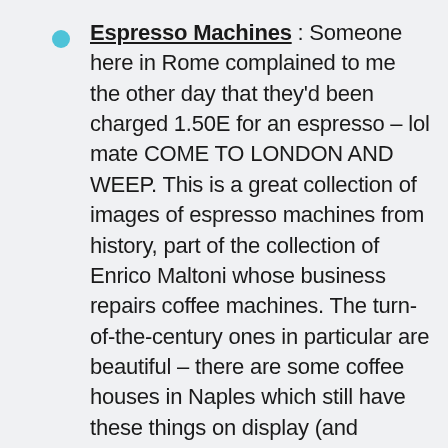Espresso Machines : Someone here in Rome complained to me the other day that they'd been charged 1.50E for an espresso – lol mate COME TO LONDON AND WEEP. This is a great collection of images of espresso machines from history, part of the collection of Enrico Maltoni whose business repairs coffee machines. The turn-of-the-century ones in particular are beautiful – there are some coffee houses in Naples which still have these things on display (and possibly in-use) – but the real stars are the designs of the 50s and 60s with all the sleek, winged designs and the embossed brandnames in super-future fonts. Semi-related – can someone explain to me why it is that those people